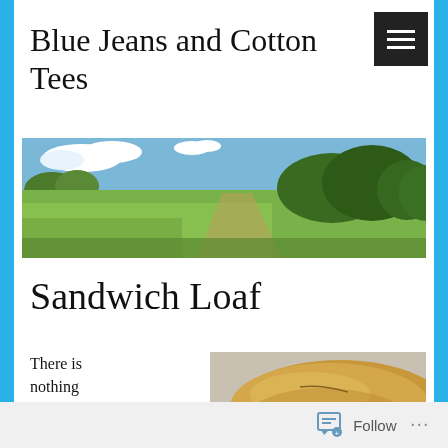Blue Jeans and Cotton Tees
[Figure (photo): Panoramic landscape photo showing green fields, blue sky with clouds, and trees on the right side — site header banner image]
Sandwich Loaf
There is nothing quite as wonderful
[Figure (photo): Close-up photo of a baked sandwich loaf bread on a surface, showing golden-brown crust]
Follow ...